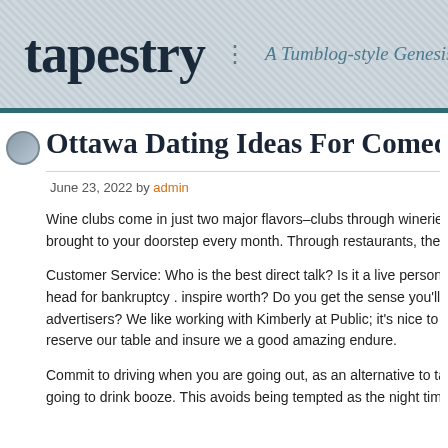tapestry | A Tumblog-style Genesis Ch
Ottawa Dating Ideas For Comedy
June 23, 2022 by admin
Wine clubs come in just two major flavors–clubs through wineries and clubs brought to your doorstep every month. Through restaurants, they will ge
Customer Service: Who is the best direct talk? Is it a live person, or a ge head for bankruptcy . inspire worth? Do you get the sense you'll be "sold advertisers? We like working with Kimberly at Public; it's nice to her con reserve our table and insure we a good amazing endure.
Commit to driving when you are going out, as an alternative to taking tax going to drink booze. This avoids being tempted as the night time wears